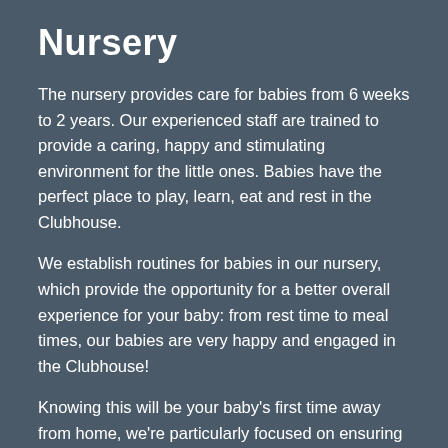Nursery
The nursery provides care for babies from 6 weeks to 2 years. Our experienced staff are trained to provide a caring, happy and stimulating environment for the little ones. Babies have the perfect place to play, learn, eat and rest in the Clubhouse.
We establish routines for babies in our nursery, which provide the opportunity for a better overall experience for your baby: from rest time to meal times, our babies are very happy and engaged in the Clubhouse!
Knowing this will be your baby's first time away from home, we're particularly focused on ensuring your baby feels secure and happy.